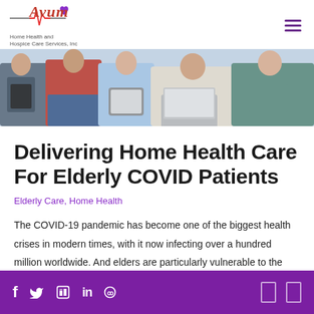Avum Home Health and Hospice Care Services, Inc — navigation header
[Figure (photo): Group of people sitting together using tablets, laptops, and smartphones]
Delivering Home Health Care For Elderly COVID Patients
Elderly Care, Home Health
The COVID-19 pandemic has become one of the biggest health crises in modern times, with it now infecting over a hundred million worldwide. And elders are particularly vulnerable to the disease
Social media icons: Facebook, Twitter, Google My Business, LinkedIn, Yelp